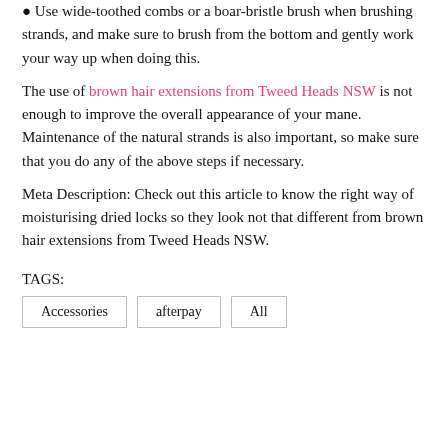• Use wide-toothed combs or a boar-bristle brush when brushing strands, and make sure to brush from the bottom and gently work your way up when doing this.
The use of brown hair extensions from Tweed Heads NSW is not enough to improve the overall appearance of your mane. Maintenance of the natural strands is also important, so make sure that you do any of the above steps if necessary.
Meta Description: Check out this article to know the right way of moisturising dried locks so they look not that different from brown hair extensions from Tweed Heads NSW.
TAGS:
Accessories
afterpay
All